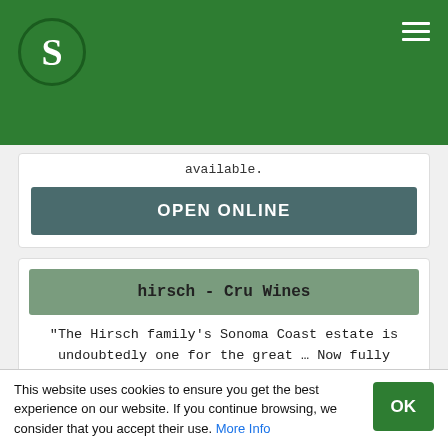[Figure (logo): Green circular logo with white letter S]
available.
OPEN ONLINE
hirsch - Cru Wines
"The Hirsch family's Sonoma Coast estate is undoubtedly one for the great ... Now fully biodynamic, winemaking has been decidedly hands-off from the outset, and ... are not
This website uses cookies to ensure you get the best experience on our website. If you continue browsing, we consider that you accept their use. More Info